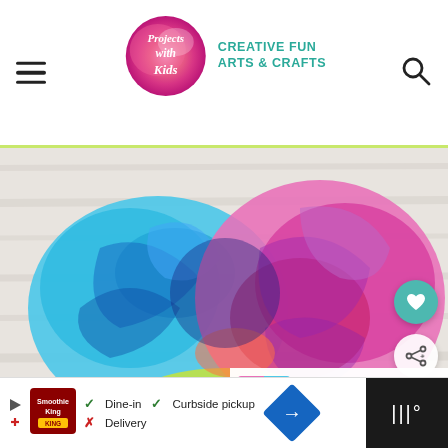Projects with Kids — CREATIVE FUN ARTS & CRAFTS
[Figure (photo): Two colorful marbled slime blobs on a white wood surface — one blue/teal on the left and one pink/purple on the right, with swirls of multiple colors mixed in]
[Figure (photo): Thumbnail strip showing two smaller images of multicolored marbled slime]
WHAT'S NEXT → 40+ Sensational...
Dine-in  Curbside pickup  Delivery